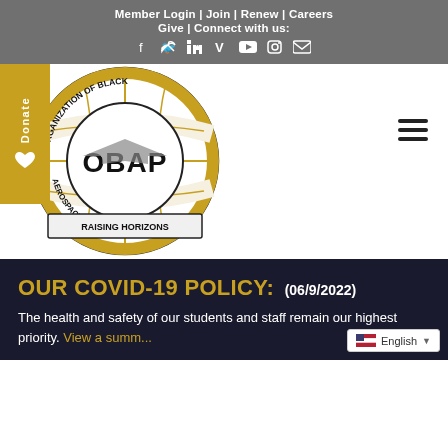Member Login | Join | Renew | Careers
Give | Connect with us:
[Figure (logo): OBAP Organization of Black Aerospace Professionals - Raising Horizons circular logo with globe and airplane]
OUR COVID-19 POLICY:
(06/9/2022)
The health and safety of our students and staff remain our highest priority. View a summ...